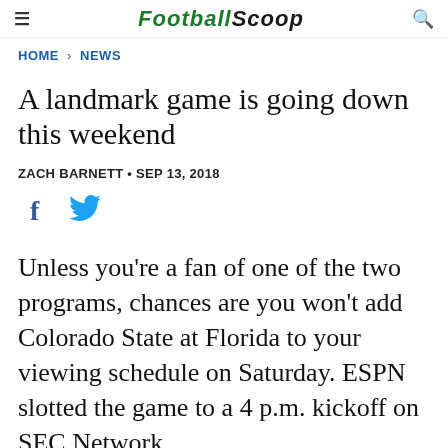FootballScoop
HOME > NEWS
A landmark game is going down this weekend
ZACH BARNETT • SEP 13, 2018
[Figure (other): Social share icons: Facebook (f) and Twitter (bird)]
Unless you're a fan of one of the two programs, chances are you won't add Colorado State at Florida to your viewing schedule on Saturday. ESPN slotted the game to a 4 p.m. kickoff on SEC Network,